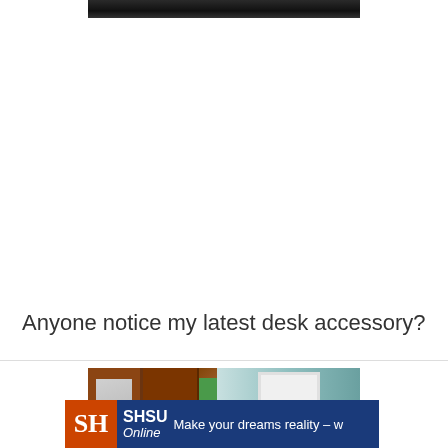[Figure (photo): Partial top of a photograph, showing a dark scene, cropped at top of page]
Anyone notice my latest desk accessory?
[Figure (photo): Photo of framed pictures on a desk or wall, with brown frames and teal/aqua background, partially cropped]
[Figure (photo): SHSU Online advertisement banner with logo and tagline: Make your dreams reality]